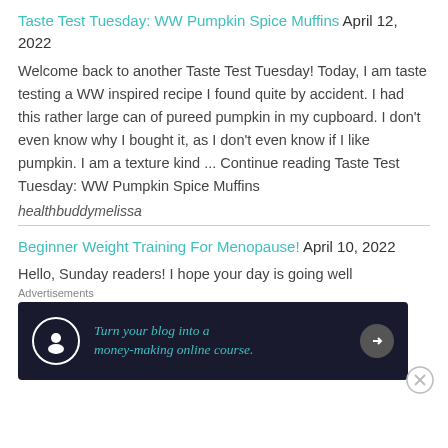Taste Test Tuesday: WW Pumpkin Spice Muffins April 12, 2022
Welcome back to another Taste Test Tuesday! Today, I am taste testing a WW inspired recipe I found quite by accident. I had this rather large can of pureed pumpkin in my cupboard. I don't even know why I bought it, as I don't even know if I like pumpkin. I am a texture kind ... Continue reading Taste Test Tuesday: WW Pumpkin Spice Muffins
healthbuddymelissa
Beginner Weight Training For Menopause! April 10, 2022
Hello, Sunday readers! I hope your day is going well
Advertisements
[Figure (other): Advertisement banner: Turn your blog into a money-making online course.]